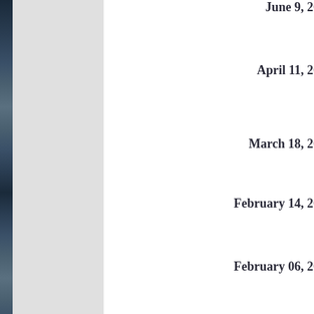[Figure (photo): Left panel with gray background and a dark blue/navy photo strip along the left edge]
June 9, 20
April 11, 20
March 18, 20
February 14, 20
February 06, 20
January 31, 20
January 15, 20
November 20, 20
September 16, 20
June 01, 20